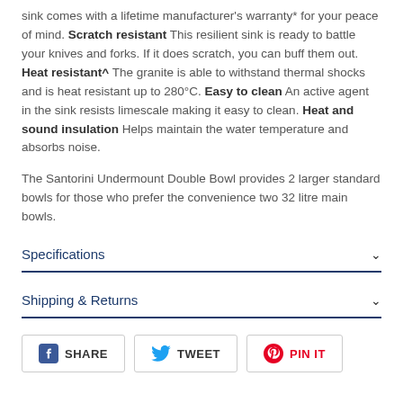sink comes with a lifetime manufacturer's warranty* for your peace of mind. Scratch resistant This resilient sink is ready to battle your knives and forks. If it does scratch, you can buff them out. Heat resistant^ The granite is able to withstand thermal shocks and is heat resistant up to 280°C. Easy to clean An active agent in the sink resists limescale making it easy to clean. Heat and sound insulation Helps maintain the water temperature and absorbs noise.
The Santorini Undermount Double Bowl provides 2 larger standard bowls for those who prefer the convenience two 32 litre main bowls.
Specifications
Shipping & Returns
SHARE   TWEET   PIN IT